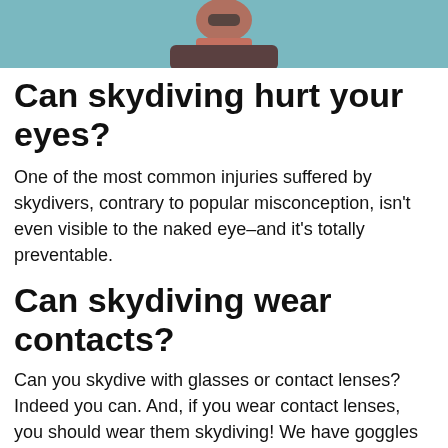[Figure (photo): Photo of a person wearing goggles outdoors, with a green banner overlay reading 'STOP LEAKY GOGGLES!' in bold uppercase text]
Can skydiving hurt your eyes?
One of the most common injuries suffered by skydivers, contrary to popular misconception, isn't even visible to the naked eye–and it's totally preventable.
Can skydiving wear contacts?
Can you skydive with glasses or contact lenses? Indeed you can. And, if you wear contact lenses, you should wear them skydiving! We have goggles that will keep your corrective lenses in place for the